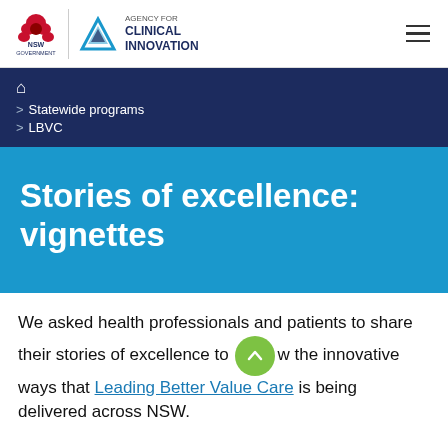NSW Government | Agency for Clinical Innovation
Home > Statewide programs > LBVC
Stories of excellence: vignettes
We asked health professionals and patients to share their stories of excellence to show the innovative ways that Leading Better Value Care is being delivered across NSW.